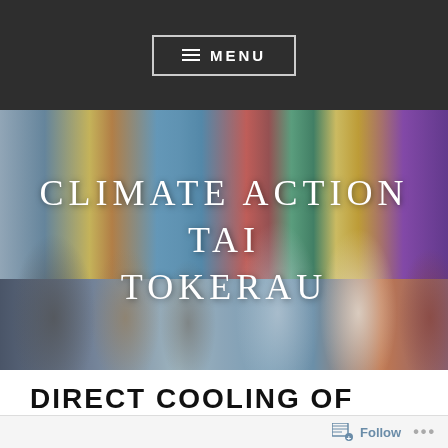MENU
[Figure (photo): Group of people standing and talking in a room with colourful Maori artwork on the walls, with overlay text 'CLIMATE ACTION TAI TOKERAU']
DIRECT COOLING OF THE PLANET
Follow ...